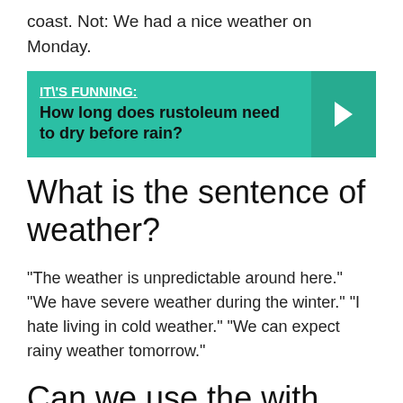coast. Not: We had a nice weather on Monday.
[Figure (infographic): Teal/green banner with underlined bold white label 'IT\'S FUNNING:' followed by bold black text 'How long does rustoleum need to dry before rain?' and a right-arrow chevron on the right side.]
What is the sentence of weather?
“The weather is unpredictable around here.” “We have severe weather during the winter.” “I hate living in cold weather.” “We can expect rainy weather tomorrow.”
Can we use the with weather?